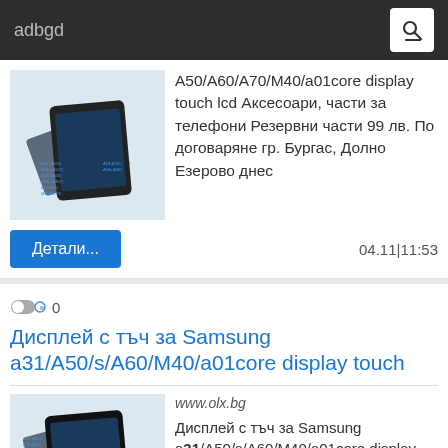adbgd
A50/A60/A70/M40/a01core display touch lcd Аксесоари, части за телефони Резервни части 99 лв. По договаряне гр. Бургас, Долно Езерово днес
04.11|11:53
Дисплей с тъч за Samsung a31/A50/s/A60/M40/a01core display touch
[Figure (photo): Product listing photo of Samsung display assembly components]
www.olx.bg
Дисплей с тъч за Samsung a31/A50/s/A60/M40/a01core display touch Аксесоари, части за телефони Резервни части 98.99 ... Бургас, Долно Е...